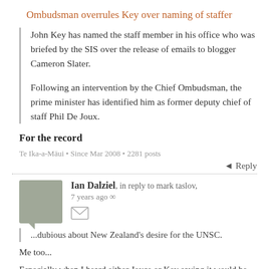Ombudsman overrules Key over naming of staffer
John Key has named the staff member in his office who was briefed by the SIS over the release of emails to blogger Cameron Slater.
Following an intervention by the Chief Ombudsman, the prime minister has identified him as former deputy chief of staff Phil De Joux.
For the record
Te Ika-a-Māui • Since Mar 2008 • 2281 posts
Reply
Ian Dalziel, in reply to mark taslov, 7 years ago
...dubious about New Zealand's desire for the UNSC.
Me too...
Especially when I heard either Joyce or Key saying it would be useful for trade networking...
way to get the wrong end of the stick!